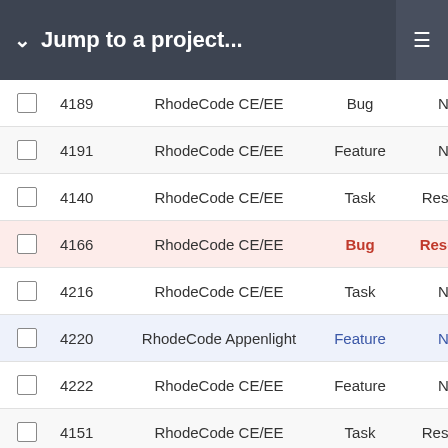Jump to a project...
|  | ID | Project | Type | Status | Priority |
| --- | --- | --- | --- | --- | --- |
| ☐ | 4189 | RhodeCode CE/EE | Bug | New | Nor |
| ☐ | 4191 | RhodeCode CE/EE | Feature | New | Nor |
| ☐ | 4140 | RhodeCode CE/EE | Task | Resolved | Nor |
| ☐ | 4166 | RhodeCode CE/EE | Bug | Resolved | Urg |
| ☐ | 4216 | RhodeCode CE/EE | Task | New | Nor |
| ☐ | 4220 | RhodeCode Appenlight | Feature | New | Lo |
| ☐ | 4222 | RhodeCode CE/EE | Feature | New | Nor |
| ☐ | 4151 | RhodeCode CE/EE | Task | Resolved | Nor |
| ☐ | 4192 | RhodeCode CE/EE | Feature | Resolved | Nor |
| ☐ | 4226 | RhodeCode CE/EE | Feature | New | Nor |